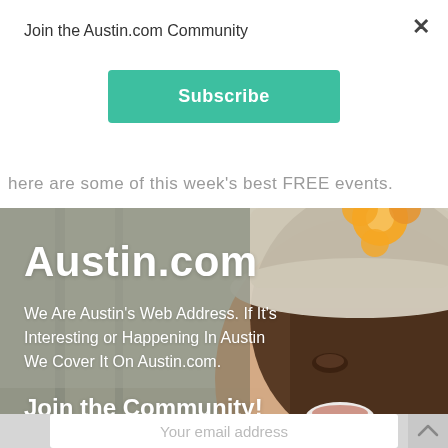Join the Austin.com Community
Subscribe
here are some of this week's best FREE events.
[Figure (photo): A smiling young woman wearing a wide-brimmed hat with an orange flower, forming the background of an Austin.com promotional banner.]
Austin.com
We Are Austin's Web Address. If It's Interesting or Happening In Austin We Cover It On Austin.com.
Join the Community!
Your email address